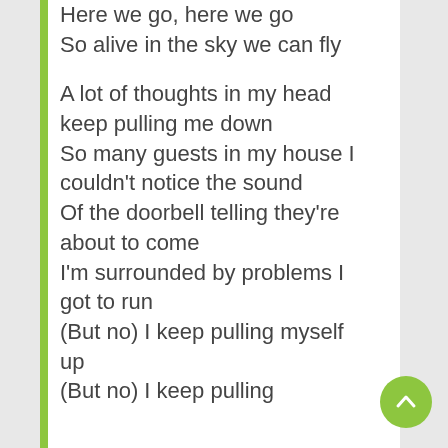Here we go, here we go
So alive in the sky we can fly

A lot of thoughts in my head keep pulling me down
So many guests in my house I couldn't notice the sound
Of the doorbell telling they're about to come
I'm surrounded by problems I got to run
(But no) I keep pulling myself up
(But no) I keep pulling